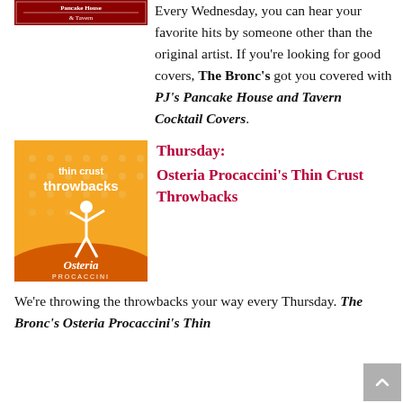[Figure (logo): PJ's Pancake House and Tavern logo with red background and green text]
Every Wednesday, you can hear your favorite hits by someone other than the original artist. If you're looking for good covers, The Bronc's got you covered with PJ's Pancake House and Tavern Cocktail Covers.
[Figure (illustration): Orange album art for 'thin crust throwbacks' by Osteria Procaccini showing a dancing figure silhouette]
Thursday: Osteria Procaccini's Thin Crust Throwbacks
We're throwing the throwbacks your way every Thursday. The Bronc's Osteria Procaccini's Thin